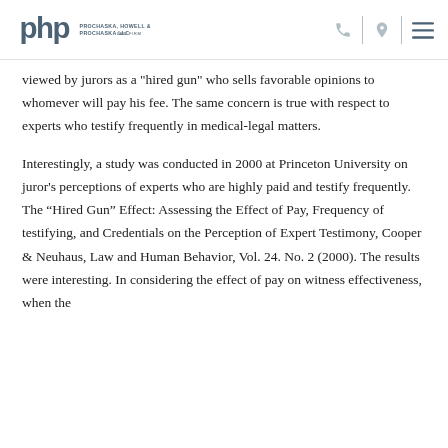Prochaska, Howell & Prochaska LLC Law Firm
viewed by jurors as a "hired gun" who sells favorable opinions to whomever will pay his fee. The same concern is true with respect to experts who testify frequently in medical-legal matters.
Interestingly, a study was conducted in 2000 at Princeton University on juror's perceptions of experts who are highly paid and testify frequently. The “Hired Gun” Effect: Assessing the Effect of Pay, Frequency of testifying, and Credentials on the Perception of Expert Testimony, Cooper & Neuhaus, Law and Human Behavior, Vol. 24. No. 2 (2000). The results were interesting. In considering the effect of pay on witness effectiveness, when the